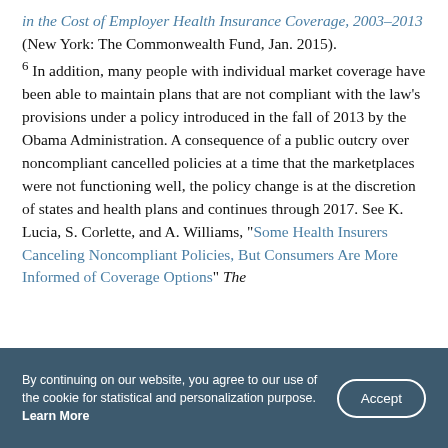in the Cost of Employer Health Insurance Coverage, 2003–2013 (New York: The Commonwealth Fund, Jan. 2015). 6 In addition, many people with individual market coverage have been able to maintain plans that are not compliant with the law's provisions under a policy introduced in the fall of 2013 by the Obama Administration. A consequence of a public outcry over noncompliant cancelled policies at a time that the marketplaces were not functioning well, the policy change is at the discretion of states and health plans and continues through 2017. See K. Lucia, S. Corlette, and A. Williams, "Some Health Insurers Canceling Noncompliant Policies, But Consumers Are More Informed of Coverage Options" The
By continuing on our website, you agree to our use of the cookie for statistical and personalization purpose. Learn More [Accept]